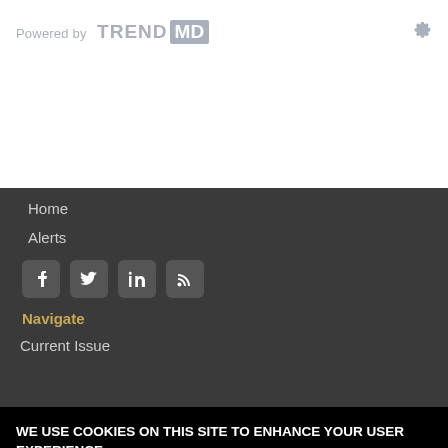[Figure (logo): TrendMD logo with 'Powered by' text and gear icon]
Home
Alerts
[Figure (infographic): Social media icons: Facebook, Twitter, LinkedIn, RSS]
Navigate
Current Issue
WE USE COOKIES ON THIS SITE TO ENHANCE YOUR USER EXPERIENCE
By clicking any link on this page you are giving your consent for us to set cookies.
OK, I agree | No, give me more info